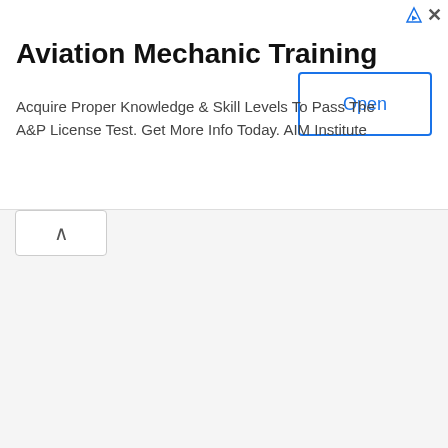[Figure (screenshot): Advertisement banner for Aviation Mechanic Training by AIM Institute with an Open button]
Aviation Mechanic Training
Acquire Proper Knowledge & Skill Levels To Pass The A&P License Test. Get More Info Today. AIM Institute
[Figure (screenshot): Code viewer panel showing Java source code with Javadoc comments and constructor body. Comments include </pre>, <p>, Example: <c..., @param out, @param opti, @see Base64, @see Base64, @see Base64, @since 1.3, */ and code lines: public OutputS, {, super( out, this.break, this.encoc, this.buffe, this.buffe, this.re...]